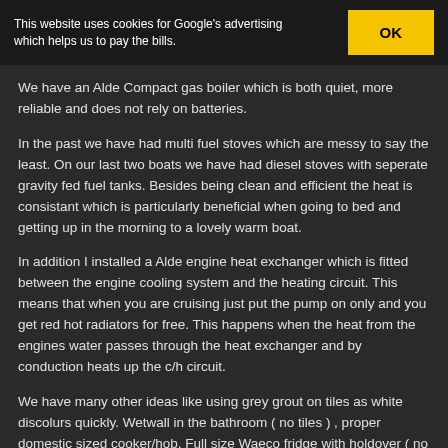This website uses cookies for Google's advertising which helps us to pay the bills.
We have an Alde Compact gas boiler which is both quiet, more reliable and does not rely on batteries.
In the past we have had multi fuel stoves which are messy to say the least. On our last two boats we have had diesel stoves with seperate gravity fed fuel tanks. Besides being clean and efficient the heat is consistant which is particularly beneficial when going to bed and getting up in the morning to a lovely warm boat.
In addition I installed a Alde engine heat exchanger which is fitted between the engine cooling system and the heating circuit. This means that when you are cruising just put the pump on only and you get red hot radiators for free. This happens when the heat from the engines water passes through the heat exchanger and by conduction heats up the c/h circuit.
We have many other ideas like using grey grout on tiles as white discolurs quickly. Wetwall in the bathroom ( no tiles ) , proper domestic sized cooker/hob, Full size Waeco fridge with holdover ( no battery power required overnight ). The use of Utile wood around areas that get condensation and a first for the inland waterways – run free pulleys on the alternators ( no stress on the engine ) plus many other things